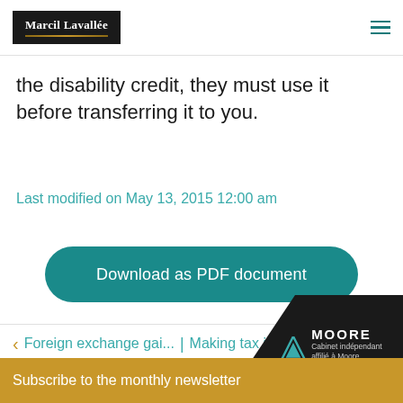Marcil Lavallée
the disability credit, they must use it before transferring it to you.
Last modified on May 13, 2015 12:00 am
Download as PDF document
Foreign exchange gai... | Making tax instal...
Subscribe to the monthly newsletter